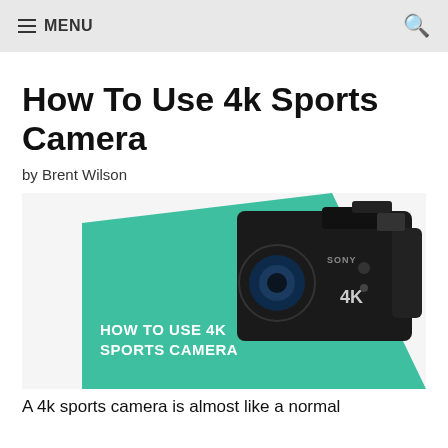≡ MENU
How To Use 4k Sports Camera
by Brent Wilson
[Figure (photo): Sony 4K sports camera on a teal/green diagonal background with white bold text reading 'HOW TO USE 4K SPORTS CAMERA']
A 4k sports camera is almost like a normal